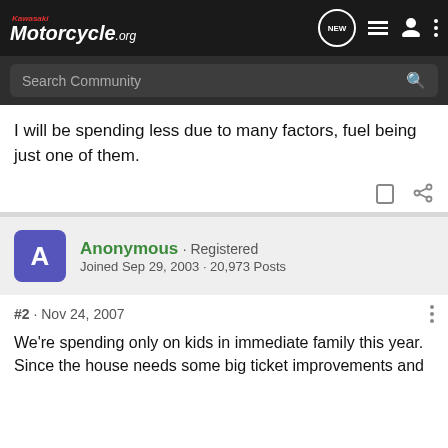Kawasaki Motorcycle.org
I will be spending less due to many factors, fuel being just one of them.
Anonymous · Registered
Joined Sep 29, 2003 · 20,973 Posts
#2 · Nov 24, 2007
We're spending only on kids in immediate family this year. Since the house needs some big ticket improvements and